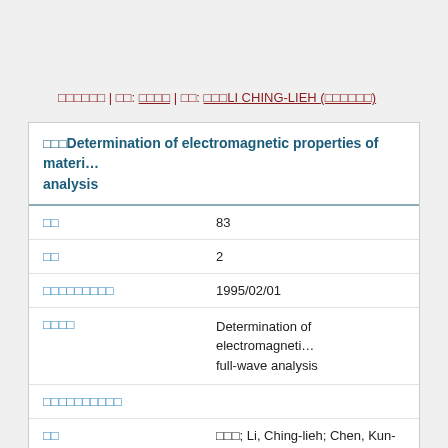□□□□□□ | □□: □□□□ | □□: □□□LI CHING-LIEH (□□□□□□)
□□□Determination of electromagnetic properties of materi... full-wave analysis
| □□ | value |
| --- | --- |
| □□ | 83 |
| □□ | 2 |
| □□□□□□□□□ | 1995/02/01 |
| □□□□ | Determination of electromagneti... full-wave analysis |
| □□□□□□□□□□ |  |
| □□ | □□□; Li, Ching-lieh; Chen, Kun-m... |
| □□ | □□□□□□□□□□ |